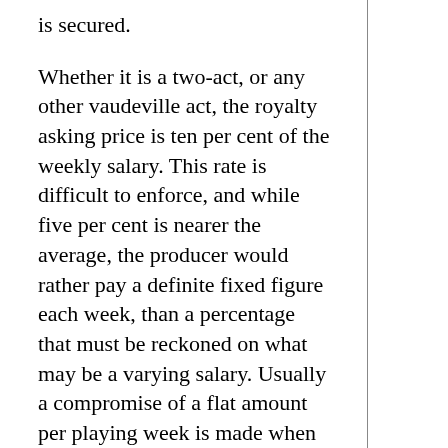is secured.
Whether it is a two-act, or any other vaudeville act, the royalty asking price is ten per cent of the weekly salary. This rate is difficult to enforce, and while five per cent is nearer the average, the producer would rather pay a definite fixed figure each week, than a percentage that must be reckoned on what may be a varying salary. Usually a compromise of a flat amount per playing week is made when a royalty is agreed on.
(c) The playlet varies in returns amazingly. While one small-